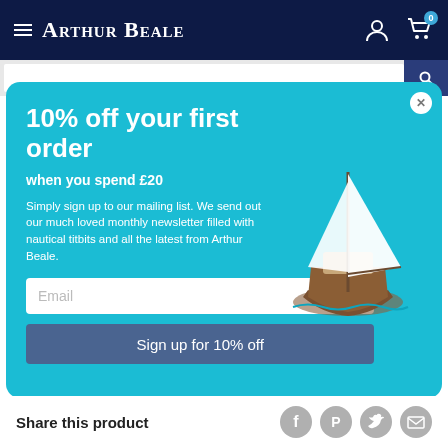Arthur Beale — navigation bar with hamburger menu, logo, account and cart icons
[Figure (screenshot): Popup modal on Arthur Beale website offering 10% off first order when spending £20, with email sign-up field and sailboat illustration]
10% off your first order
when you spend £20
Simply sign up to our mailing list. We send out our much loved monthly newsletter filled with nautical titbits and all the latest from Arthur Beale.
Email
Sign up for 10% off
Share this product